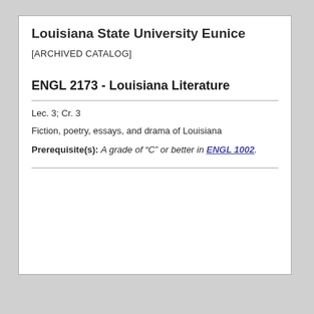Louisiana State University Eunice
[ARCHIVED CATALOG]
ENGL 2173 - Louisiana Literature
Lec. 3; Cr. 3
Fiction, poetry, essays, and drama of Louisiana
Prerequisite(s): A grade of “C” or better in ENGL 1002.